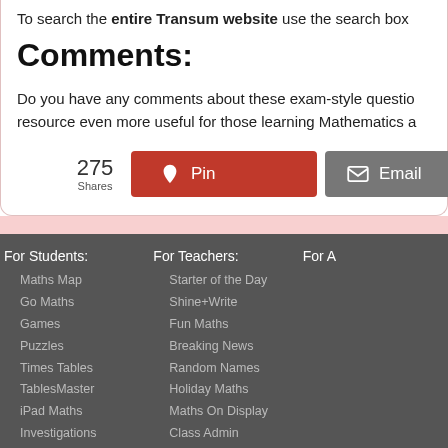To search the entire Transum website use the search box
Comments:
Do you have any comments about these exam-style questions? resource even more useful for those learning Mathematics a
[Figure (infographic): Social sharing bar with 275 Shares, Pin button (red), Email button (grey), Share button (green)]
For Students:
Maths Map
Go Maths
Games
Puzzles
Times Tables
TablesMaster
iPad Maths
Investigations
Exam Questions
For Teachers:
Starter of the Day
Shine+Write
Fun Maths
Breaking News
Random Names
Holiday Maths
Maths On Display
Class Admin
Curriculum
For A